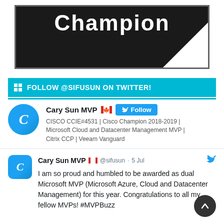[Figure (illustration): Cisco Champion logo/badge: dark background with white 'Champion' text and white corner triangle]
FOLLOW @SIFUSUN ON TWITTER!
[Figure (infographic): Twitter profile card for Cary Sun MVP with Follow button]
CISCO CCIE#4531 | Cisco Champion 2018-2019 | Microsoft Cloud and Datacenter Management MVP | Citrix CCP | Veeam Vanguard
[Figure (screenshot): Tweet from Cary Sun MVP @sifusun on 5 Jul]
I am so proud and humbled to be awarded as dual Microsoft MVP (Microsoft Azure, Cloud and Datacenter Management) for this year. Congratulations to all my fellow MVPs! #MVPBuzz